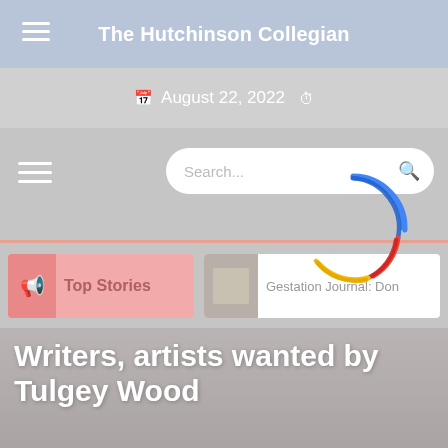The Hutchinson Collegian
August 22, 2022
[Figure (screenshot): Search bar with rounded corners and magnifying glass icon]
[Figure (infographic): Animated loading spinner with blue, red, and yellow arcs overlaid on the page]
Top Stories
Gestation Journal: Don
Writers, artists wanted by Tulgey Wood